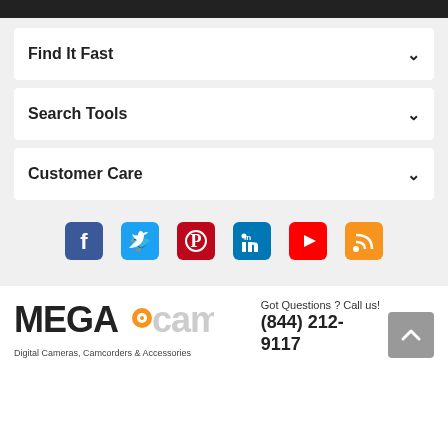Find It Fast
Search Tools
Customer Care
[Figure (other): Social media icons row: Facebook, Twitter, Pinterest, LinkedIn, YouTube, RSS]
[Figure (logo): MEGACameras logo — Digital Cameras, Camcorders & Accessories]
Got Questions ? Call us!
(844) 212-9117